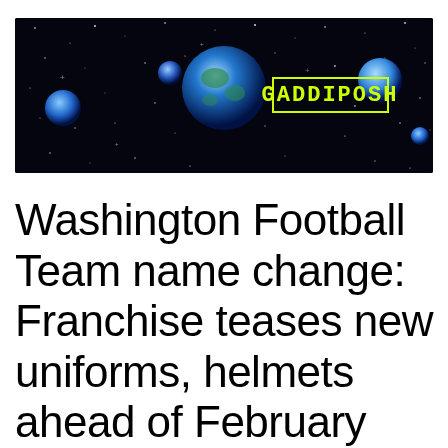[Figure (logo): GADDIPOSH website banner logo with space/stars background, blue Earth globe and smaller blue spheres/moons, yellow-green text reading GADDIPOSH in a rectangular border]
Washington Football Team name change: Franchise teases new uniforms, helmets ahead of February unveiling